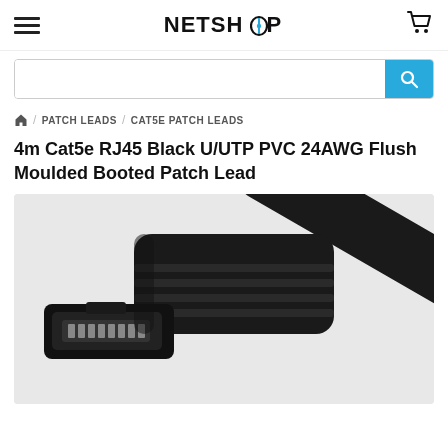NETSHOP
PATCH LEADS / CAT5E PATCH LEADS
4m Cat5e RJ45 Black U/UTP PVC 24AWG Flush Moulded Booted Patch Lead
[Figure (photo): Close-up photograph of a black Cat5e RJ45 patch lead connector/boot against a white background]